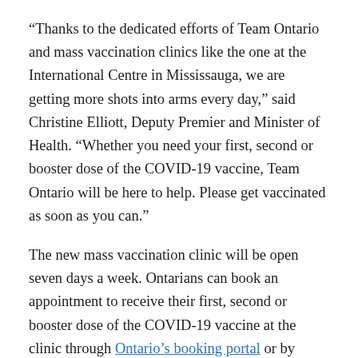“Thanks to the dedicated efforts of Team Ontario and mass vaccination clinics like the one at the International Centre in Mississauga, we are getting more shots into arms every day,” said Christine Elliott, Deputy Premier and Minister of Health. “Whether you need your first, second or booster dose of the COVID-19 vaccine, Team Ontario will be here to help. Please get vaccinated as soon as you can.”
The new mass vaccination clinic will be open seven days a week. Ontarians can book an appointment to receive their first, second or booster dose of the COVID-19 vaccine at the clinic through Ontario’s booking portal or by calling the Provincial Vaccine Contact Centre at 1-833-943-